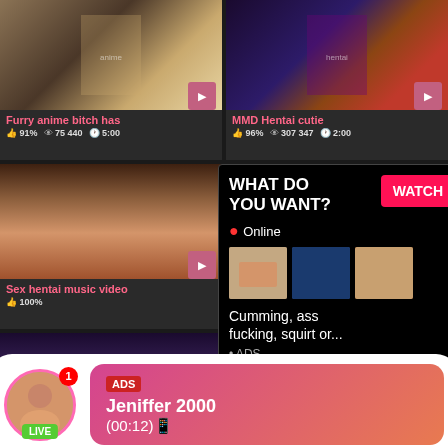[Figure (screenshot): Adult video thumbnail grid with overlay ads - anime and video content thumbnails with titles, stats, and promotional overlays]
Furry anime bitch has
91% 75 440 5:00
MMD Hentai cutie
96% 307 347 2:00
WHAT DO YOU WANT?
WATCH
Online
Cumming, ass fucking, squirt or...
• ADS
Sex hentai music video
100%
Hot ryona hentai game
ADS Jeniffer 2000 (00:12)
LIVE